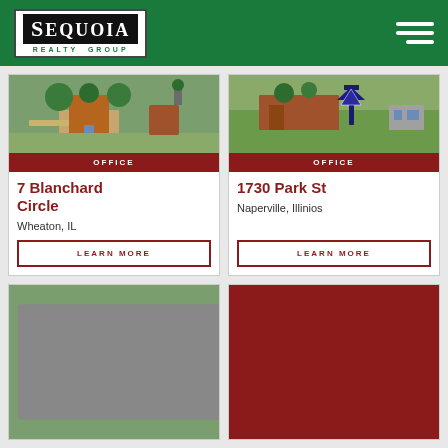[Figure (logo): Sequoia Realty Group logo on green header bar with hamburger menu]
[Figure (photo): Outdoor landscaped entrance of 7 Blanchard Circle office property]
OFFICE
7 Blanchard Circle
Wheaton, IL
LEARN MORE
[Figure (photo): Outdoor view of 1730 Park St office property with sculpture]
OFFICE
1730 Park St
Naperville, Illinios
LEARN MORE